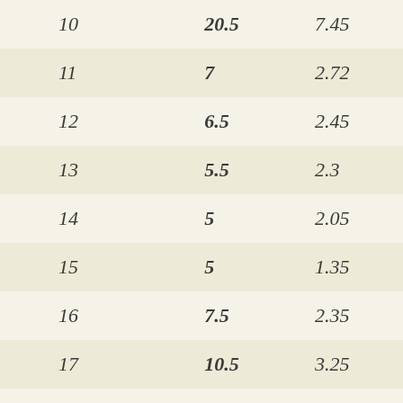| 10 | 20.5 | 7.45 |
| 11 | 7 | 2.72 |
| 12 | 6.5 | 2.45 |
| 13 | 5.5 | 2.3 |
| 14 | 5 | 2.05 |
| 15 | 5 | 1.35 |
| 16 | 7.5 | 2.35 |
| 17 | 10.5 | 3.25 |